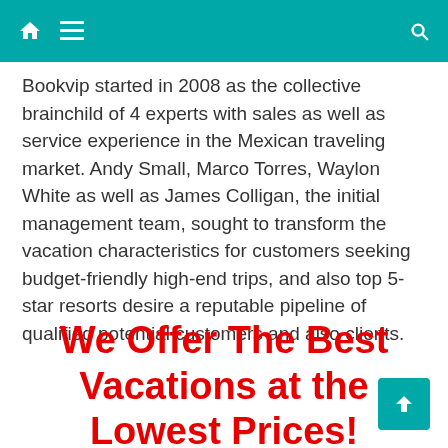Navigation bar with home, menu, and search icons
Bookvip started in 2008 as the collective brainchild of 4 experts with sales as well as service experience in the Mexican traveling market. Andy Small, Marco Torres, Waylon White as well as James Colligan, the initial management team, sought to transform the vacation characteristics for customers seeking budget-friendly high-end trips, and also top 5-star resorts desire a reputable pipeline of qualified potential customers and also clients.
We Offer The Best Vacations at the Lowest Prices!